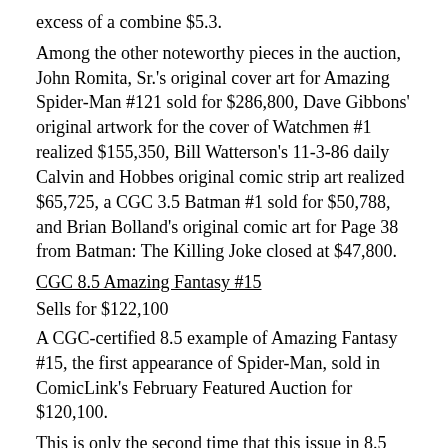excess of a combine $5.3.
Among the other noteworthy pieces in the auction, John Romita, Sr.'s original cover art for Amazing Spider-Man #121 sold for $286,800, Dave Gibbons' original artwork for the cover of Watchmen #1 realized $155,350, Bill Watterson's 11-3-86 daily Calvin and Hobbes original comic strip art realized $65,725, a CGC 3.5 Batman #1 sold for $50,788, and Brian Bolland's original comic art for Page 38 from Batman: The Killing Joke closed at $47,800.
CGC 8.5 Amazing Fantasy #15
Sells for $122,100
A CGC-certified 8.5 example of Amazing Fantasy #15, the first appearance of Spider-Man, sold in ComicLink's February Featured Auction for $120,100.
This is only the second time that this issue in 8.5 has reached the $120,000 mark.  The first occurred in 2008 when another copy sold for $122,000, also in a ComicLink auction. ComicLink President Josh